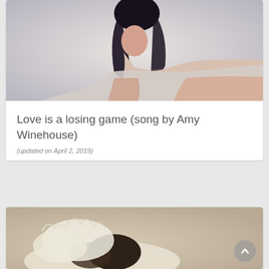[Figure (photo): Woman with dark updo hair in white patterned dress lying on white surface against white background]
Love is a losing game (song by Amy Winehouse)
(updated on April 2, 2019)
[Figure (photo): Close-up of a cat with white and brown fur against a beige background]